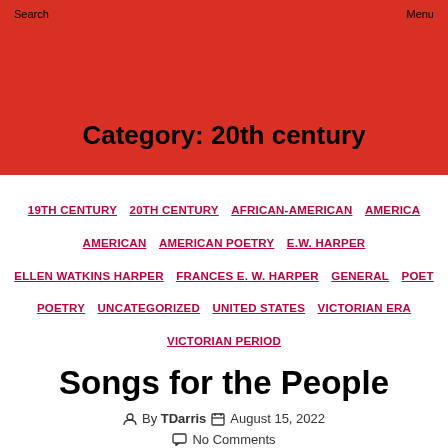Search   Menu
Category: 20th century
19TH CENTURY
20TH CENTURY
AFRICAN-AMERICAN
AMERICA
AMERICAN
AMERICAN POETRY
E.W. HARPER
ELLEN WATKINS HARPER
FRANCES E. W. HARPER
GENERAL
POET
POETRY
UNCATEGORIZED
UNITED STATES
VICTORIAN ERA
VICTORIAN PERIOD
Songs for the People
By TDarris  August 15, 2022
No Comments